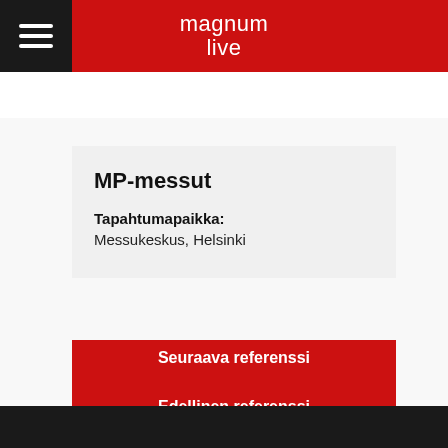magnum live
Pyydä tarjous
MP-messut
Tapahtumapaikka: Messukeskus, Helsinki
Edellinen referenssi
Seuraava referenssi